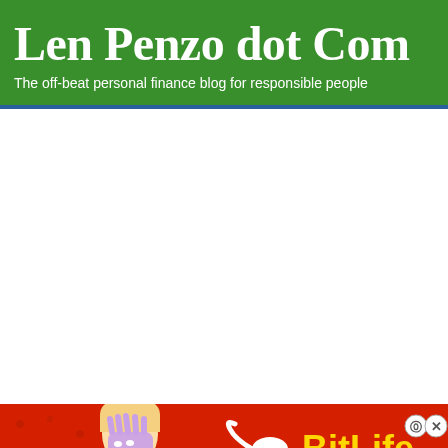Len Penzo dot Com
The off-beat personal finance blog for responsible people
[Figure (illustration): Advertisement banner for BitLife mobile game showing 'FAIL' badge, cartoon character facepalming, flames, sperm icon, BitLife logo in yellow, and 'START A NEW LIFE' text on red textured background]